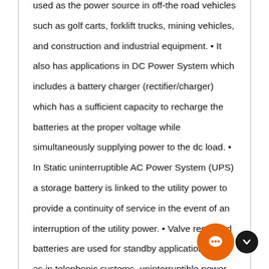used as the power source in off-the road vehicles such as golf carts, forklift trucks, mining vehicles, and construction and industrial equipment. • It also has applications in DC Power System which includes a battery charger (rectifier/charger) which has a sufficient capacity to recharge the batteries at the proper voltage while simultaneously supplying power to the dc load. • In Static uninterruptible AC Power System (UPS) a storage battery is linked to the utility power to provide a continuity of service in the event of an interruption of the utility power. • Valve regulated batteries are used for standby applications such as in telephonic systems, uninterruptible power systems, burglar, fire alarms and emergency lighting. Global Scenario Lead acid batteries are considered to have one of the fastest global growth rates. Usage of lead acid battery is expected to grow further with technological advancements in the electric vehicle market. Although efforts are on to develop a miracle battery for electric vehicles, lead acid batteries are one of the few battery
[Figure (other): Chat widget overlay with an orange circle containing a chat bubble icon and a dark circle with a downward chevron arrow]